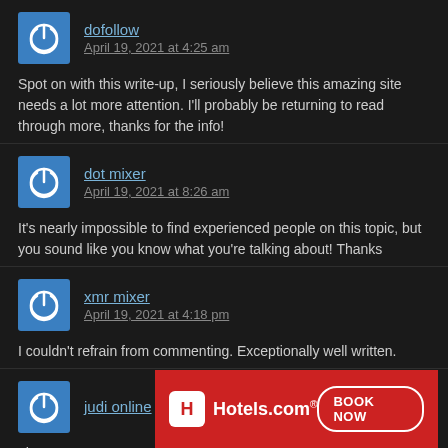[Figure (other): User avatar icon with power symbol on blue background]
dofollow
April 19, 2021 at 4:25 am
Spot on with this write-up, I seriously believe this amazing site needs a lot more attention. I'll probably be returning to read through more, thanks for the info!
[Figure (other): User avatar icon with power symbol on blue background]
dot mixer
April 19, 2021 at 8:26 am
It's nearly impossible to find experienced people on this topic, but you sound like you know what you're talking about! Thanks
[Figure (other): User avatar icon with power symbol on blue background]
xmr mixer
April 19, 2021 at 4:18 pm
I couldn't refrain from commenting. Exceptionally well written.
[Figure (other): User avatar icon with power symbol on blue background]
judi online
I have to
[Figure (other): Hotels.com advertisement banner with Book Now button]